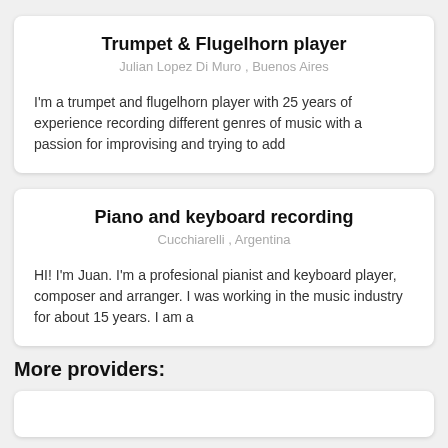Trumpet & Flugelhorn player
Julian Lopez Di Muro  ,  Buenos Aires
I'm a trumpet and flugelhorn player with 25 years of experience recording different genres of music with a passion for improvising and trying to add
Piano and keyboard recording
Cucchiarelli  ,  Argentina
HI! I'm Juan. I'm a profesional pianist and keyboard player, composer and arranger. I was working in the music industry for about 15 years. I am a
More providers: